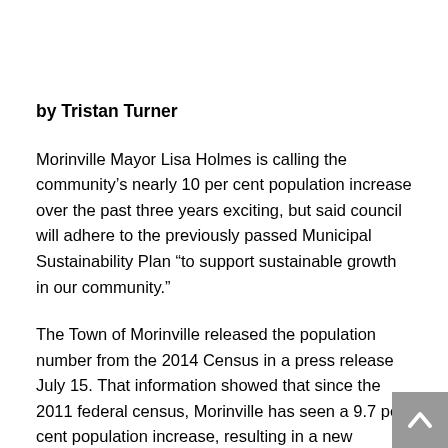by Tristan Turner
Morinville Mayor Lisa Holmes is calling the community's nearly 10 per cent population increase over the past three years exciting, but said council will adhere to the previously passed Municipal Sustainability Plan “to support sustainable growth in our community.”
The Town of Morinville released the population number from the 2014 Census in a press release July 15. That information showed that since the 2011 federal census, Morinville has seen a 9.7 per cent population increase, resulting in a new population of